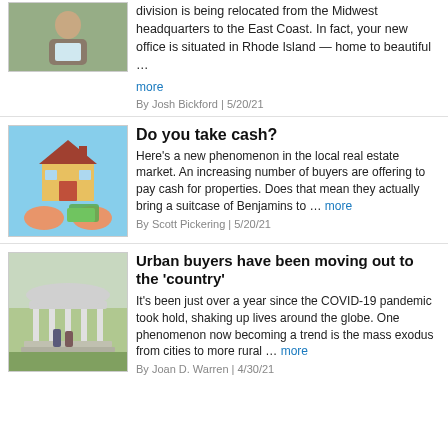[Figure (photo): Person reading a tablet device outdoors]
division is being relocated from the Midwest headquarters to the East Coast. In fact, your new office is situated in Rhode Island — home to beautiful …
more
By Josh Bickford | 5/20/21
[Figure (illustration): Cartoon of hands holding a house and money]
Do you take cash?
Here's a new phenomenon in the local real estate market. An increasing number of buyers are offering to pay cash for properties. Does that mean they actually bring a suitcase of Benjamins to … more
By Scott Pickering | 5/20/21
[Figure (photo): Outdoor pavilion with columns, people standing nearby]
Urban buyers have been moving out to the 'country'
It's been just over a year since the COVID-19 pandemic took hold, shaking up lives around the globe. One phenomenon now becoming a trend is the mass exodus from cities to more rural … more
By Joan D. Warren | 4/30/21